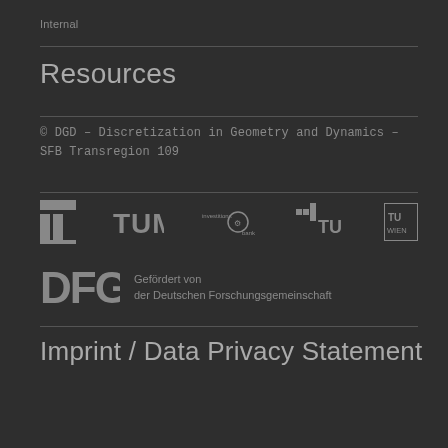Internal
Resources
© DGD – Discretization in Geometry and Dynamics – SFB Transregion 109
[Figure (logo): Row of institutional logos: TU Berlin, TUM, Investitionsbank, TU Braunschweig, TU Wien]
[Figure (logo): DFG logo with text: Gefördert von der Deutschen Forschungsgemeinschaft]
Imprint / Data Privacy Statement